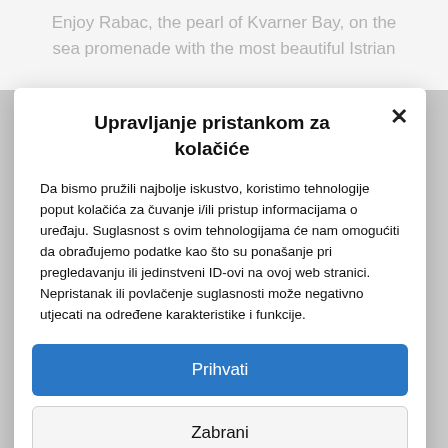Enjoy Rabac, the pearl of Kvarner Bay, on the sea promenade with the most beautiful Istrian
Upravljanje pristankom za kolačiće
Da bismo pružili najbolje iskustvo, koristimo tehnologije poput kolačića za čuvanje i/ili pristup informacijama o uređaju. Suglasnost s ovim tehnologijama će nam omogućiti da obrađujemo podatke kao što su ponašanje pri pregledavanju ili jedinstveni ID-ovi na ovoj web stranici. Nepristanak ili povlačenje suglasnosti može negativno utjecati na određene karakteristike i funkcije.
Prihvati
Zabrani
Pogledaj postavke